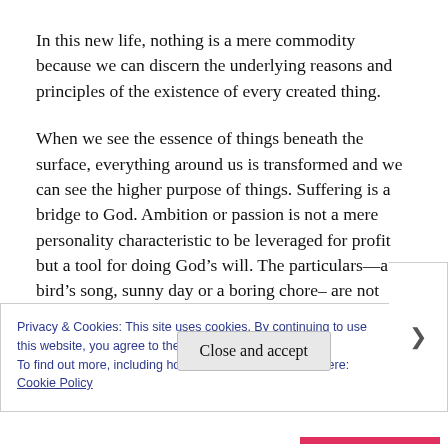In this new life, nothing is a mere commodity because we can discern the underlying reasons and principles of the existence of every created thing.
When we see the essence of things beneath the surface, everything around us is transformed and we can see the higher purpose of things. Suffering is a bridge to God. Ambition or passion is not a mere personality characteristic to be leveraged for profit but a tool for doing God’s will. The particulars—a bird’s song, sunny day or a boring chore– are not random, disconnected phenomena. In them we
Privacy & Cookies: This site uses cookies. By continuing to use this website, you agree to their use.
To find out more, including how to control cookies, see here: Cookie Policy